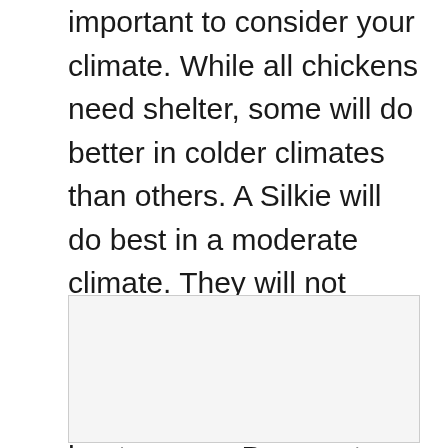important to consider your climate. While all chickens need shelter, some will do better in colder climates than others. A Silkie will do best in a moderate climate. They will not thrive in cold climates or damp, wet climates without a supplemental heat source. Be sure to keep their feathers dry when it’s cold. Silkies aren’t cold hardy birds.
[Figure (photo): Empty light gray image placeholder box with a thin border]